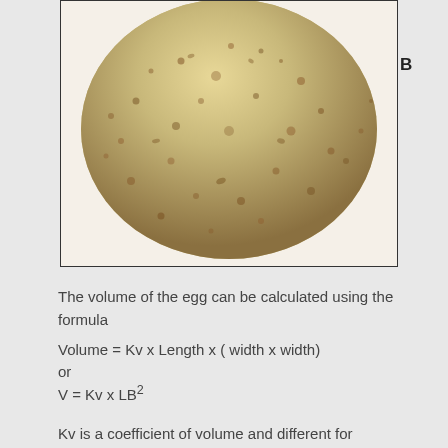[Figure (photo): Close-up photograph of a speckled egg with a tan/beige color and brown spots, shown in a bordered frame. Label B appears to the right of the frame.]
The volume of the egg can be calculated using the formula
or
Kv is a coefficient of volume and different for